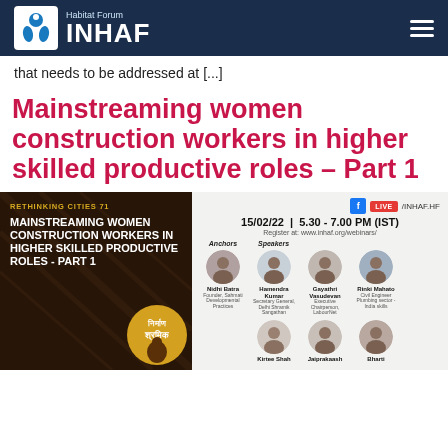Habitat Forum INHAF
that needs to be addressed at [...]
Mainstreaming women construction workers in higher skilled productive roles – Part 1
[Figure (infographic): Event banner for Rethinking Cities 71 webinar on Mainstreaming Women Construction Workers in Higher Skilled Productive Roles - Part 1, dated 15/02/22, 5.30 - 7.00 PM (IST), showing anchors and speakers including Nidhi Batra, Hamendra Kumar, Gayathri Vasudevan, Rinki Mahato, Kirtee Shah, Jaiprakaash, Bharti]